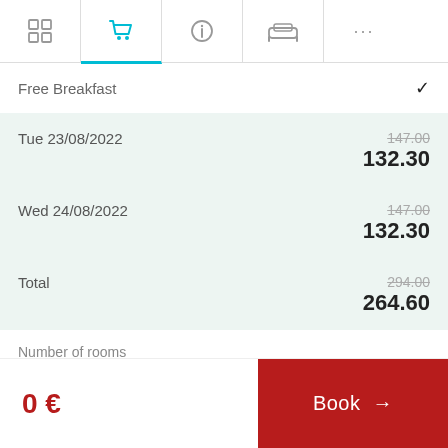[Figure (screenshot): Navigation tab bar with icons: grid/hotel, shopping cart (active/teal), info, sofa/couch, and ellipsis (more)]
Free Breakfast ✓
Tue 23/08/2022  147.00 (strikethrough)  132.30
Wed 24/08/2022  147.00 (strikethrough)  132.30
Total  294.00 (strikethrough)  264.60
Number of rooms
0 €
Book →